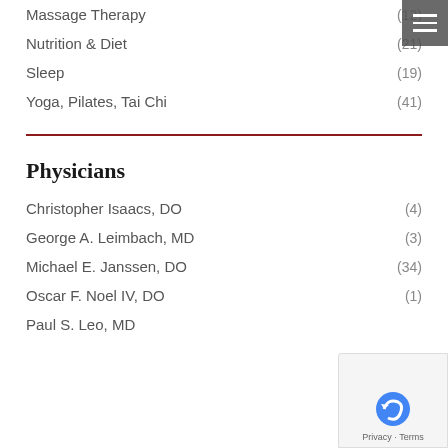Massage Therapy (12)
Nutrition & Diet (21)
Sleep (19)
Yoga, Pilates, Tai Chi (41)
Physicians
Christopher Isaacs, DO (4)
George A. Leimbach, MD (3)
Michael E. Janssen, DO (34)
Oscar F. Noel IV, DO (1)
Paul S. Leo, MD (5)